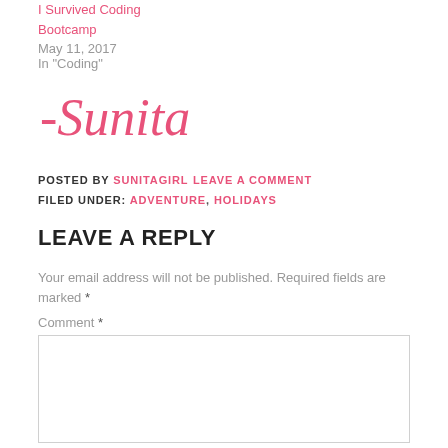I Survived Coding Bootcamp
May 11, 2017
In "Coding"
[Figure (illustration): Handwritten cursive signature reading '-Sunita' in pink/magenta ink]
POSTED BY SUNITAGIRL LEAVE A COMMENT
FILED UNDER: ADVENTURE, HOLIDAYS
LEAVE A REPLY
Your email address will not be published. Required fields are marked *
Comment *